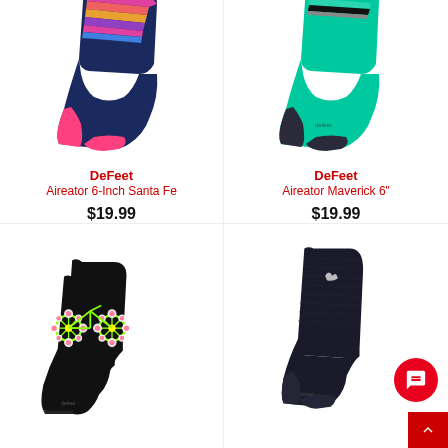[Figure (photo): DeFeet Aireator 6-Inch Santa Fe cycling sock — navy blue body with multicolor horizontal stripes (pink, red, orange, purple) at the cuff, pink heel and toe]
DeFeet
Aireator 6-Inch Santa Fe
$19.99
[Figure (photo): DeFeet Aireator Maverick 6" cycling sock — teal/mint green body with teal, black, and gray horizontal stripes at cuff, dark charcoal heel and toe]
DeFeet
Aireator Maverick 6"
$19.99
[Figure (photo): Two black ankle socks with a neon green bicycle illustration with daisy wheels on the shaft]
[Figure (photo): Dark navy/black crew-length sock with a small white logo on the shaft]